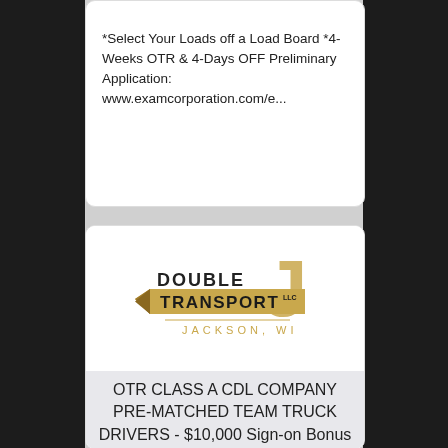*Select Your Loads off a Load Board *4-Weeks OTR & 4-Days OFF Preliminary Application: www.examcorporation.com/e...
[Figure (logo): Double J Transport LLC logo - Jackson, WI. Gold and black shield/arrow shape with 'DOUBLE J' text above and large 'J' letter, 'TRANSPORT LLC' on banner, 'JACKSON, WI' below.]
OTR CLASS A CDL COMPANY PRE-MATCHED TEAM TRUCK DRIVERS - $10,000 Sign-on Bonus